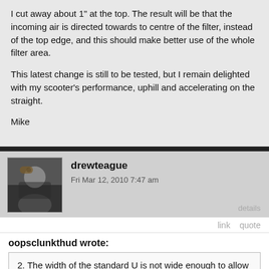I cut away about 1" at the top. The result will be that the incoming air is directed towards to centre of the filter, instead of the top edge, and this should make better use of the whole filter area.
This latest change is still to be tested, but I remain delighted with my scooter's performance, uphill and accelerating on the straight.
Mike
drewteague
Fri Mar 12, 2010 7:47 am
details
link   quote
oopsclunkthud wrote:
2. The width of the standard U is not wide enough to allow the filter to let air by unfiltered. Something to consider when enlarging the passage, may want to go deeper rather than wider.
Yes! It's obvious if you remove a lot of air filters. Looking at them in their dirty, crimped state shows a lot about how they sit in the